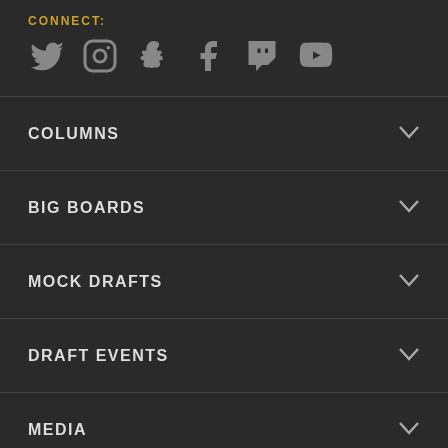CONNECT:
[Figure (illustration): Social media icons: Twitter, Instagram, Snapchat, Facebook, Twitch, YouTube]
COLUMNS
BIG BOARDS
MOCK DRAFTS
DRAFT EVENTS
MEDIA